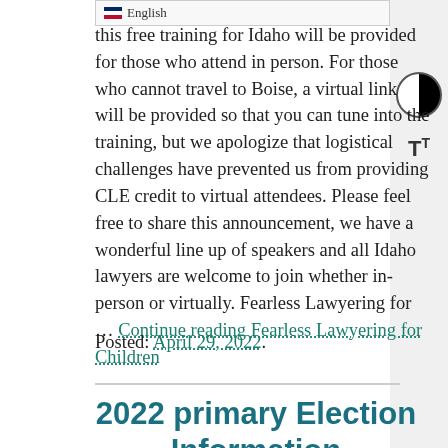this free training for Idaho … will be provided for those who attend in person. For those who cannot travel to Boise, a virtual link will be provided so that you can tune into the training, but we apologize that logistical challenges have prevented us from providing CLE credit to virtual attendees. Please feel free to share this announcement, we have a wonderful line up of speakers and all Idaho lawyers are welcome to join whether in-person or virtually. Fearless Lawyering for … Continue reading Fearless Lawyering for Children
Posted: April 29, 2022.
2022 primary Election Information